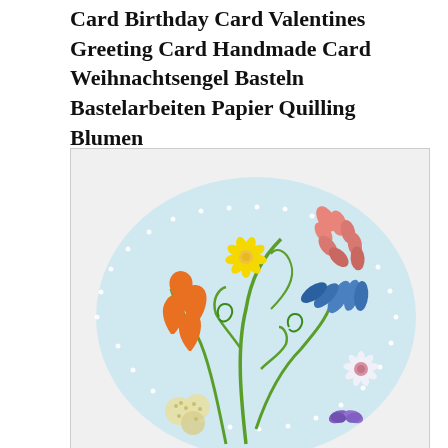Card Birthday Card Valentines Greeting Card Handmade Card Weihnachtsengel Basteln Bastelarbeiten Papier Quilling Blumen
[Figure (photo): A paper quilling artwork showing colorful flowers and decorative elements arranged on a light blue oval background. The arrangement includes a yellow flower with curling green stems, orange bell-shaped flowers, pink/salmon wheat-like spikes, blue leaf shapes, a white daisy with pink center, purple butterfly, and small cream/yellow pom-pom flowers. The oval shape has small white dots along its border.]